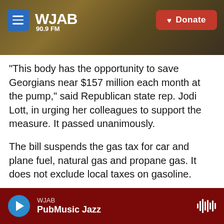WJAB 90.9 FM — Donate
"This body has the opportunity to save Georgians near $157 million each month at the pump," said Republican state rep. Jodi Lott, in urging her colleagues to support the measure. It passed unanimously.
The bill suspends the gas tax for car and plane fuel, natural gas and propane gas. It does not exclude local taxes on gasoline.
"Under the leadership of Governor Kemp and the General Assembly, the state of Georgia is proactively working to ease the burden Georgia
WJAB — PubMusic Jazz